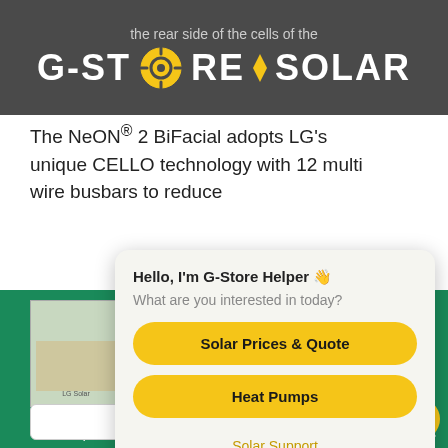the rear side of the cells of the G-STORE SOLAR
The NeON® 2 BiFacial adopts LG's unique CELLO technology with 12 multi wire busbars to reduce
[Figure (screenshot): Download panel brochure section with green background, thumbnail image of solar installation, download title text, and input box]
[Figure (infographic): Chat popup dialog: Hello, I'm G-Store Helper with wave emoji. What are you interested in today? Buttons: Solar Prices & Quote, Heat Pumps, Solar Support, Show more]